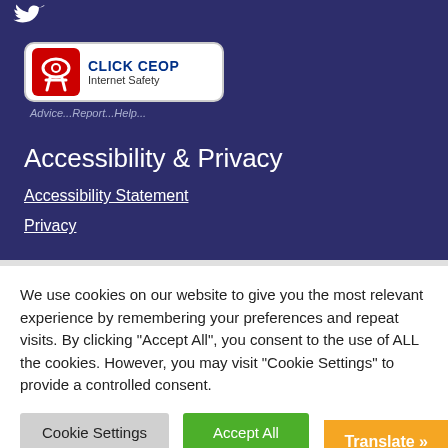[Figure (logo): CLICK CEOP Internet Safety badge with red figure icon inside white rounded rectangle, and tagline 'Advice...Report...Help...' below]
Accessibility & Privacy
Accessibility Statement
Privacy
We use cookies on our website to give you the most relevant experience by remembering your preferences and repeat visits. By clicking "Accept All", you consent to the use of ALL the cookies. However, you may visit "Cookie Settings" to provide a controlled consent.
Cookie Settings | Accept All | Translate »